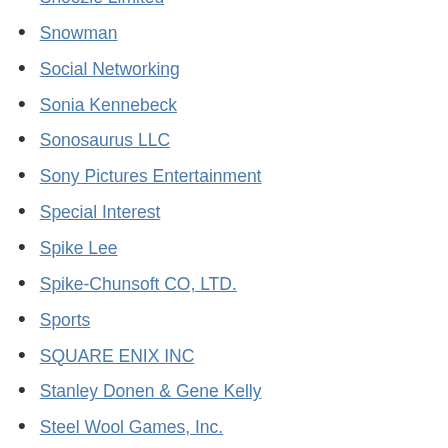Snoozie Limited
Snowman
Social Networking
Sonia Kennebeck
Sonosaurus LLC
Sony Pictures Entertainment
Special Interest
Spike Lee
Spike-Chunsoft CO, LTD.
Sports
SQUARE ENIX INC
Stanley Donen & Gene Kelly
Steel Wool Games, Inc.
Stefano Sollima
Stephen Chbosky
Stephen Daldry
Stephen Frears
Stephen Merchant
Stephen Susco